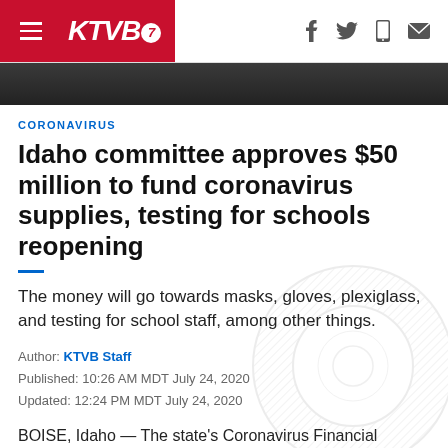KTVB7
[Figure (photo): Dark image strip at top of article]
CORONAVIRUS
Idaho committee approves $50 million to fund coronavirus supplies, testing for schools reopening
The money will go towards masks, gloves, plexiglass, and testing for school staff, among other things.
Author: KTVB Staff
Published: 10:26 AM MDT July 24, 2020
Updated: 12:24 PM MDT July 24, 2020
BOISE, Idaho — The state's Coronavirus Financial Advisory